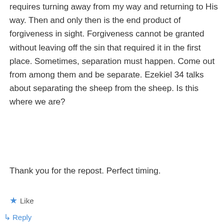requires turning away from my way and returning to His way. Then and only then is the end product of forgiveness in sight. Forgiveness cannot be granted without leaving off the sin that required it in the first place. Sometimes, separation must happen. Come out from among them and be separate. Ezekiel 34 talks about separating the sheep from the sheep. Is this where we are?
Thank you for the repost. Perfect timing.
Like
Reply
RJ Dawson on January 14, 2015 at 6:20 PM